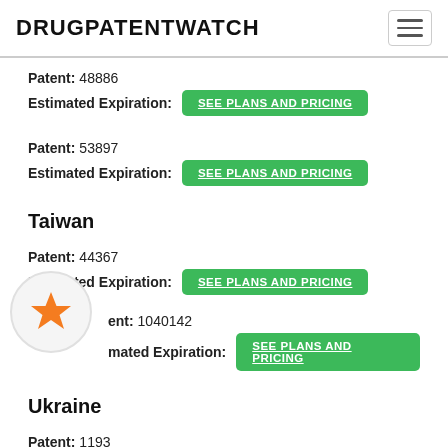DRUGPATENTWATCH
Patent: 48886
Estimated Expiration: SEE PLANS AND PRICING
Patent: 53897
Estimated Expiration: SEE PLANS AND PRICING
Taiwan
Patent: 44367
Estimated Expiration: SEE PLANS AND PRICING
Patent: 1040142
Estimated Expiration: SEE PLANS AND PRICING
Ukraine
Patent: 1193
Estimated Expiration: SEE PLANS AND PRICING